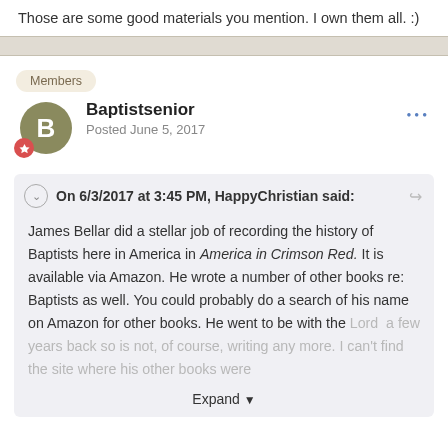Those are some good materials you mention. I own them all. :)
Members
Baptistsenior
Posted June 5, 2017
On 6/3/2017 at 3:45 PM, HappyChristian said:
James Bellar did a stellar job of recording the history of Baptists here in America in America in Crimson Red. It is available via Amazon. He wrote a number of other books re: Baptists as well. You could probably do a search of his name on Amazon for other books. He went to be with the Lord  a few years back so is not, of course, writing any more. I can't find the site where his other books were
Expand